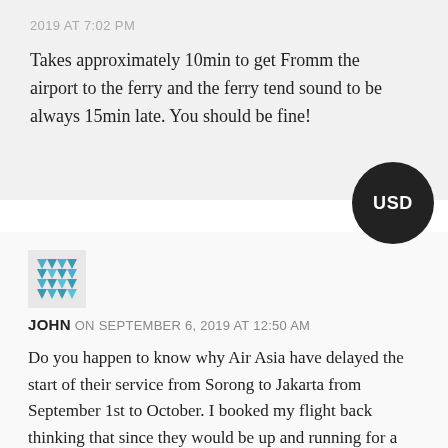2019 AT 7:02 PM
Takes approximately 10min to get Fromm the airport to the ferry and the ferry tend sound to be always 15min late. You should be fine!
[Figure (illustration): Dark circular USD badge button]
[Figure (illustration): Teal/blue geometric avatar icon for user John]
JOHN ON SEPTEMBER 6, 2019 AT 12:50 AM
Do you happen to know why Air Asia have delayed the start of their service from Sorong to Jakarta from September 1st to October. I booked my flight back thinking that since they would be up and running for a good month that any kinks in their service would be worked out. Now I find out that my flight on Oct 3rd is